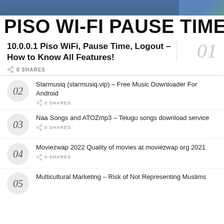[Figure (photo): Banner image with hand and blue/green background showing partial text PISO WI-FI PAUSE TIME]
10.0.0.1 Piso WiFi, Pause Time, Logout – How to Know All Features!
0 SHARES
Starmusiq (starmusiq.vip) – Free Music Downloader For Android
0 SHARES
Naa Songs and ATOZmp3 – Telugu songs download service
0 SHARES
Moviezwap 2022 Quality of movies at moviezwap org 2021
0 SHARES
Multicultural Marketing – Risk of Not Representing Muslims